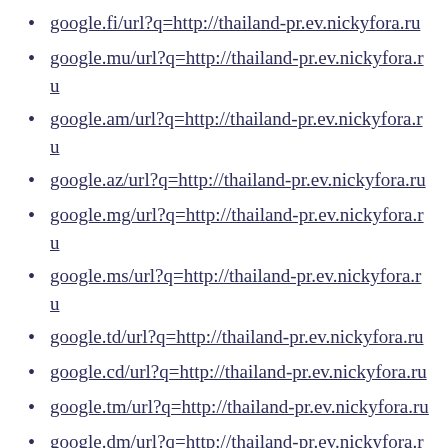google.fi/url?q=http://thailand-pr.ev.nickyfora.ru
google.mu/url?q=http://thailand-pr.ev.nickyfora.ru
google.am/url?q=http://thailand-pr.ev.nickyfora.ru
google.az/url?q=http://thailand-pr.ev.nickyfora.ru
google.mg/url?q=http://thailand-pr.ev.nickyfora.ru
google.ms/url?q=http://thailand-pr.ev.nickyfora.ru
google.td/url?q=http://thailand-pr.ev.nickyfora.ru
google.cd/url?q=http://thailand-pr.ev.nickyfora.ru
google.tm/url?q=http://thailand-pr.ev.nickyfora.ru
google.dm/url?q=http://thailand-pr.ev.nickyfora.ru
google.nl/url?q=http://thailand-pr.ev.nickyfora.ru
google.lv/url?q=http://thailand-pr.ev.nickyfora.ru
google.net/url?q=http://thailand-pr.ev.nickyfora.ru
google.com/url?q=http://thailand-